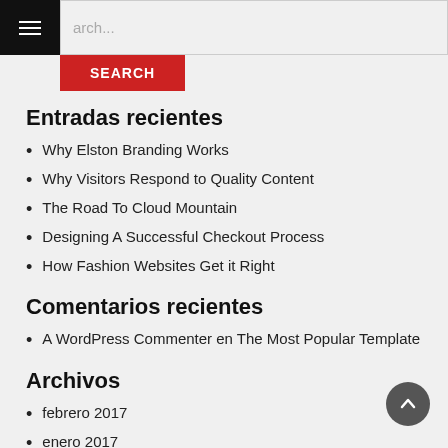arch...
Entradas recientes
Why Elston Branding Works
Why Visitors Respond to Quality Content
The Road To Cloud Mountain
Designing A Successful Checkout Process
How Fashion Websites Get it Right
Comentarios recientes
A WordPress Commenter en The Most Popular Template
Archivos
febrero 2017
enero 2017
noviembre 2016